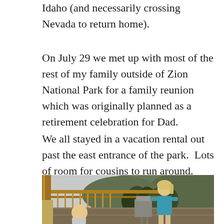Idaho (and necessarily crossing Nevada to return home).
On July 29 we met up with most of the rest of my family outside of Zion National Park for a family reunion which was originally planned as a retirement celebration for Dad.
We all stayed in a vacation rental out past the east entrance of the park.  Lots of room for cousins to run around.
[Figure (photo): Children on a wooden deck porch of a vacation rental. A young girl in a blue shirt stands near a BBQ grill, a toddler is visible at lower left, mountains and trees visible in background.]